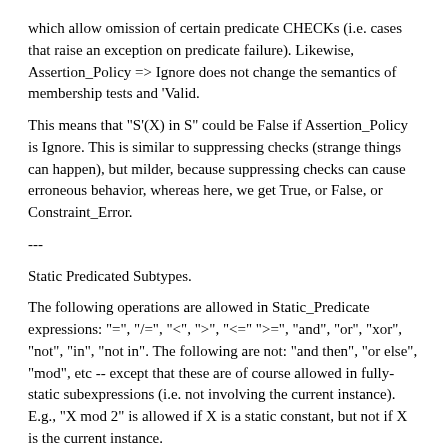which allow omission of certain predicate CHECKs (i.e. cases that raise an exception on predicate failure). Likewise, Assertion_Policy => Ignore does not change the semantics of membership tests and 'Valid.
This means that "S'(X) in S" could be False if Assertion_Policy is Ignore. This is similar to suppressing checks (strange things can happen), but milder, because suppressing checks can cause erroneous behavior, whereas here, we get True, or False, or Constraint_Error.
---
Static Predicated Subtypes.
The following operations are allowed in Static_Predicate expressions: "=", "/=", "<", ">", "<=" ">=", "and", "or", "xor", "not", "in", "not in". The following are not: "and then", "or else", "mod", etc -- except that these are of course allowed in fully-static subexpressions (i.e. not involving the current instance). E.g., "X mod 2" is allowed if X is a static constant, but not if X is the current instance.
The purpose of defining some subtypes with user-defined predicates to be static is to allow those subtypes in places where the language provides full coverage checking: case statements, case expressions, variant parts, and array aggregates. For example, Ada language allows those types...